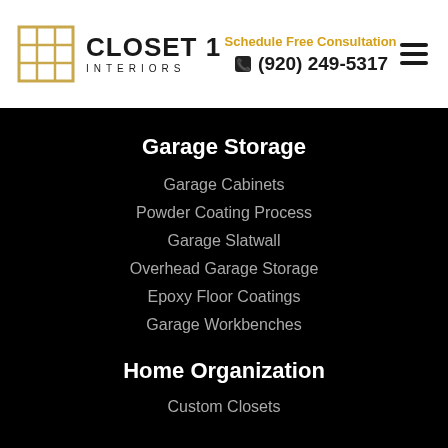Closet 1 Interiors — Schedule Free Consultation (920) 249-5317
Garage Storage
Garage Cabinets
Powder Coating Process
Garage Slatwall
Overhead Garage Storage
Epoxy Floor Coatings
Garage Workbenches
Home Organization
Custom Closets